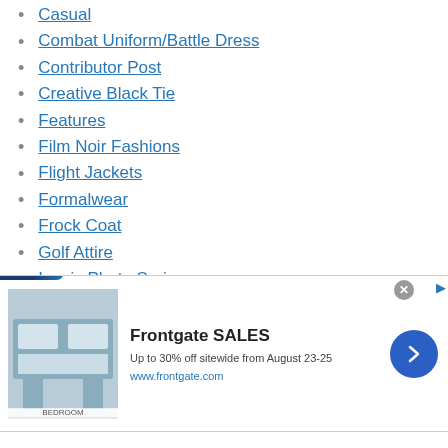Casual
Combat Uniform/Battle Dress
Contributor Post
Creative Black Tie
Features
Film Noir Fashions
Flight Jackets
Formalwear
Frock Coat
Golf Attire
Iconic Photo Series
Jazz Age Summer Style
Jet Age Summer Style
[Figure (screenshot): Frontgate SALES advertisement banner: 'Up to 30% off sitewide from August 23-25' at www.frontgate.com, with bedroom image and blue arrow button. Infolinks badge in top left, close button top right.]